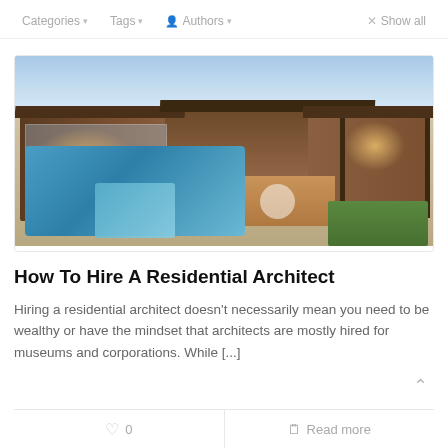Categories ▼   Tags ▼   Authors ▼   × Show all
[Figure (photo): Exterior photo of a modern residential home at dusk showing a pool, spa, timber-clad pavilions, and outdoor deck area]
How To Hire A Residential Architect
Hiring a residential architect doesn't necessarily mean you need to be wealthy or have the mindset that architects are mostly hired for museums and corporations. While [...]
♡ 0   Read more